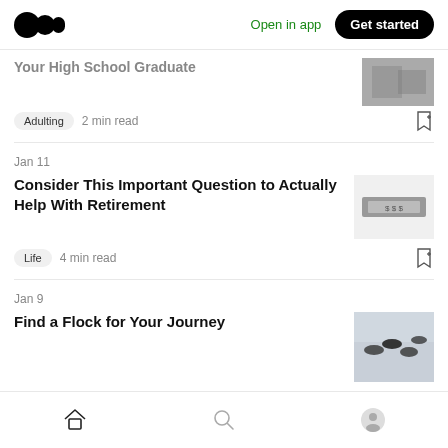Medium app header with logo, Open in app, Get started button
Your High School Graduate
Adulting · 2 min read
Jan 11
Consider This Important Question to Actually Help With Retirement
Life · 4 min read
Jan 9
Find a Flock for Your Journey
Life · 2 min read
Home | Search | Profile navigation